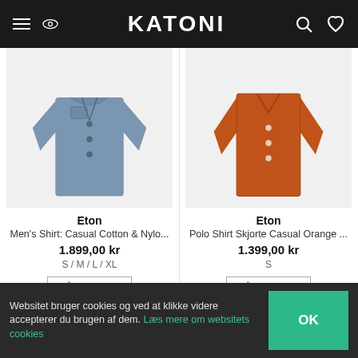KATONI
[Figure (photo): Blue men's casual cotton shirt displayed on white background]
Eton
Men's Shirt: Casual Cotton & Nylo...
1.899,00 kr
S / M / L / XL
GÅ TIL BUTIK
[Figure (photo): Orange polo shirt displayed on white background]
Eton
Polo Shirt Skjorte Casual Orange ...
1.399,00 kr
S
GÅ TIL BUTIK
Websitet bruger cookies og ved at klikke videre accepterer du brugen af dem. Læs mere om websitets cookies